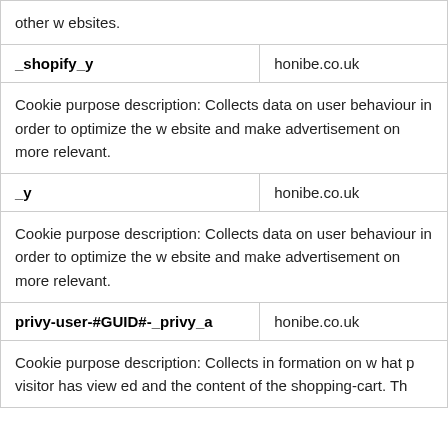| Cookie name | Domain |
| --- | --- |
| (continuation) other websites. |  |
| _shopify_y | honibe.co.uk |
| Cookie purpose description: Collects data on user behaviour in order to optimize the website and make advertisement on more relevant. |  |
| _y | honibe.co.uk |
| Cookie purpose description: Collects data on user behaviour in order to optimize the website and make advertisement on more relevant. |  |
| privy-user-#GUID#-_privy_a | honibe.co.uk |
| Cookie purpose description: Collects in formation on what p visitor has view ed and the content of the shopping-cart. Th |  |